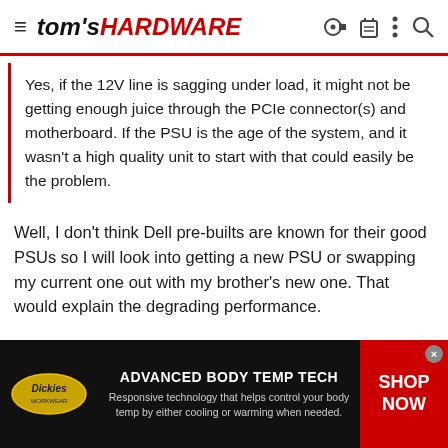tom's HARDWARE
Yes, if the 12V line is sagging under load, it might not be getting enough juice through the PCIe connector(s) and motherboard. If the PSU is the age of the system, and it wasn't a high quality unit to start with that could easily be the problem.
Well, I don't think Dell pre-builts are known for their good PSUs so I will look into getting a new PSU or swapping my current one out with my brother's new one. That would explain the degrading performance.
[Figure (infographic): Dickies advertisement banner: 'ADVANCED BODY TEMP TECH - Responsive technology that helps control your body temp by either cooling or warming when needed.' with SHOP NOW call to action button]